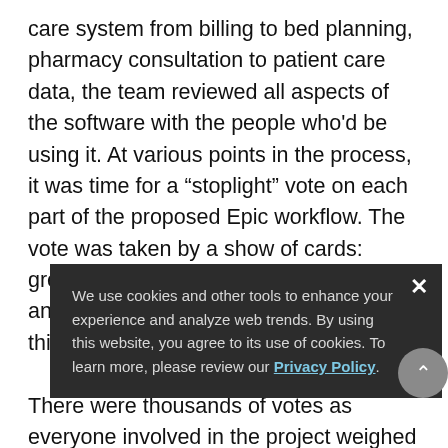care system from billing to bed planning, pharmacy consultation to patient care data, the team reviewed all aspects of the software with the people who'd be using it. At various points in the process, it was time for a “stoplight” vote on each part of the proposed Epic workflow. The vote was taken by a show of cards: green for “Okay, this will work for us,” and red for “Let’s stop and think about this.”

There were thousands of votes as everyone involved in the project weighed in and shaped the end result. In addition to creating a system that supports the unique needs of its users, the collaborative build had another critical result. It brought people, many of whom had never worked together, out of their silos. “We’re
We use cookies and other tools to enhance your experience and analyze web trends. By using this website, you agree to its use of cookies. To learn more, please review our Privacy Policy.